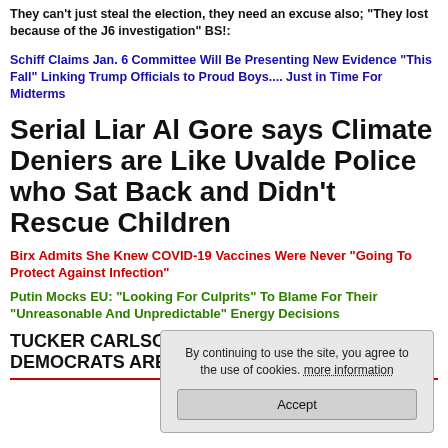They can't just steal the election, they need an excuse also; "They lost because of the J6 investigation" BS!:
Schiff Claims Jan. 6 Committee Will Be Presenting New Evidence "This Fall" Linking Trump Officials to Proud Boys.... Just in Time For Midterms
Serial Liar Al Gore says Climate Deniers are Like Uvalde Police who Sat Back and Didn't Rescue Children
Birx Admits She Knew COVID-19 Vaccines Were Never "Going To Protect Against Infection"
Putin Mocks EU: "Looking For Culprits" To Blame For Their "Unreasonable And Unpredictable" Energy Decisions
TUCKER CARLSON: BANNING GUILTY OF A CRIME DEMOCRATS ARE NEVER CONVICTED OF
By continuing to use the site, you agree to the use of cookies. more information
Accept